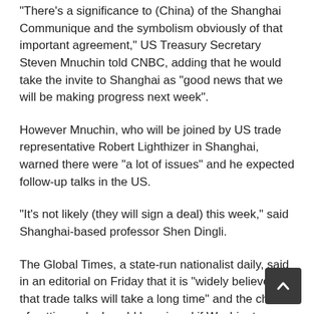“There’s a significance to (China) of the Shanghai Communique and the symbolism obviously of that important agreement,” US Treasury Secretary Steven Mnuchin told CNBC, adding that he would take the invite to Shanghai as “good news that we will be making progress next week”.
However Mnuchin, who will be joined by US trade representative Robert Lighthizer in Shanghai, warned there were “a lot of issues” and he expected follow-up talks in the US.
“It’s not likely (they will sign a deal) this week,” said Shanghai-based professor Shen Dingli.
The Global Times, a state-run nationalist daily, said in an editorial on Friday that it is “widely believed that trade talks will take a long time” and the chance of getting a deal could be missed if Washington continues to put pressure on Beijing.